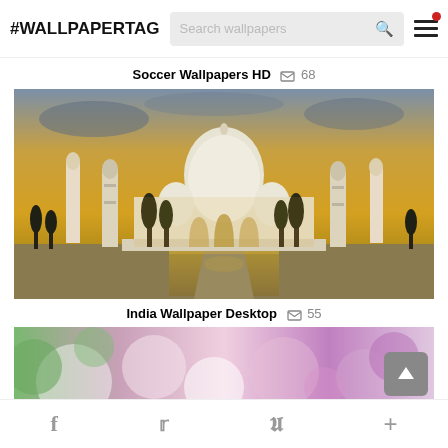#WALLPAPERTAG
Soccer Wallpapers HD  68
[Figure (photo): Taj Mahal wallpaper showing the iconic white marble mausoleum with minarets, reflecting pool, cypress trees, and a golden sunset sky]
India Wallpaper Desktop  55
[Figure (photo): Blurred colorful floral wallpaper with soft greens, pinks, and purples, partially visible at the bottom of the page]
f  (Twitter bird)  p  +